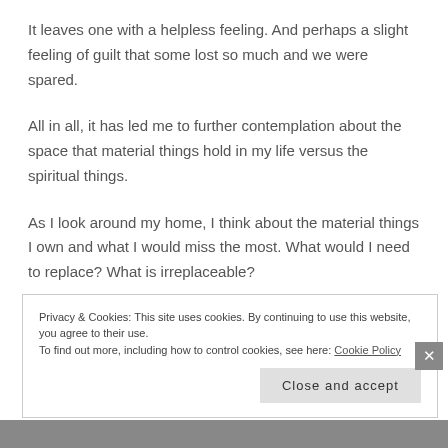It leaves one with a helpless feeling.  And perhaps a slight feeling of guilt that some lost so much and we were spared.
All in all, it has led me to further contemplation about the space that material things hold in my life versus the spiritual things.
As I look around my home, I think about the material things I own and what I would miss the most.  What would I need to replace?  What is irreplaceable?
Privacy & Cookies: This site uses cookies. By continuing to use this website, you agree to their use.
To find out more, including how to control cookies, see here: Cookie Policy
Close and accept